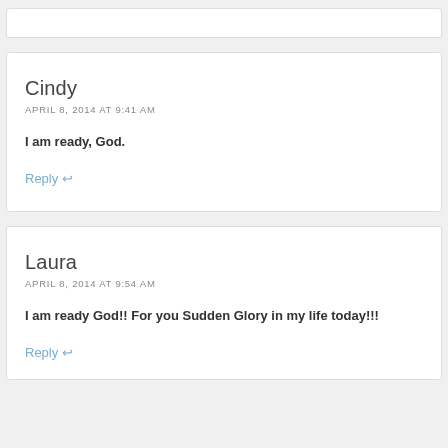Cindy
APRIL 8, 2014 AT 9:41 AM
I am ready, God.
Reply ↩
Laura
APRIL 8, 2014 AT 9:54 AM
I am ready God!! For you Sudden Glory in my life today!!!
Reply ↩